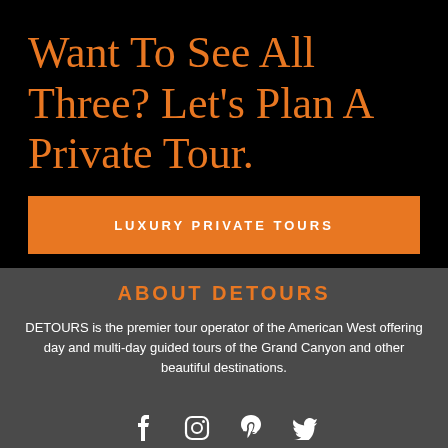Want To See All Three? Let's Plan A Private Tour.
LUXURY PRIVATE TOURS
ABOUT DETOURS
DETOURS is the premier tour operator of the American West offering day and multi-day guided tours of the Grand Canyon and other beautiful destinations.
[Figure (infographic): Social media icons: Facebook, Instagram, Pinterest, Twitter]